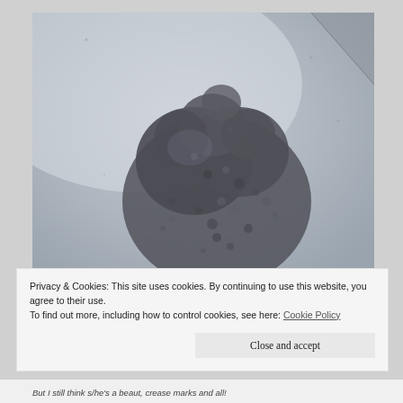[Figure (photo): Black and white microscope or macro photograph of a biological specimen — appears to be a coral, sponge, or embryo cluster with a bumpy, textured surface, photographed against a light gray background with a page corner visible at upper right.]
Privacy & Cookies: This site uses cookies. By continuing to use this website, you agree to their use.
To find out more, including how to control cookies, see here: Cookie Policy
Close and accept
But I still think s/he's a beaut, crease marks and all!